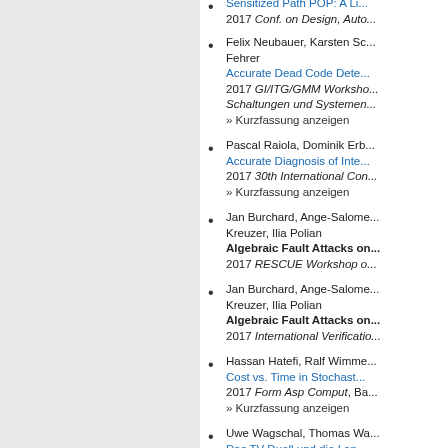Sensitized Path POP: A Li... 2017 Conf. on Design, Auto...
Felix Neubauer, Karsten Sc... Fehrer
Accurate Dead Code Dete...
2017 GI/ITG/GMM Worksho... Schaltungen und Systemen...
» Kurzfassung anzeigen
Pascal Raiola, Dominik Erb...
Accurate Diagnosis of Inte...
2017 30th International Con...
» Kurzfassung anzeigen
Jan Burchard, Ange-Salome... Kreuzer, Ilia Polian
Algebraic Fault Attacks on...
2017 RESCUE Workshop o...
Jan Burchard, Ange-Salome... Kreuzer, Ilia Polian
Algebraic Fault Attacks on...
2017 International Verificatio...
Hassan Hatefi, Ralf Wimme...
Cost vs. Time in Stochast...
2017 Form Asp Comput, Ba...
» Kurzfassung anzeigen
Uwe Wagschal, Thomas Wa...
Das TV-Duell und die Lan... politischen Kommunikatio...
2017 Zeitschrift für Parlame...
» Kurzfassung anzeigen